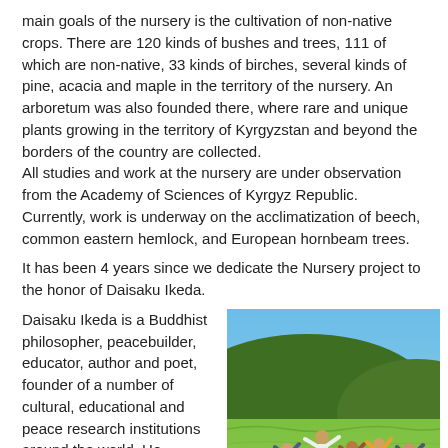main goals of the nursery is the cultivation of non-native crops. There are 120 kinds of bushes and trees, 111 of which are non-native, 33 kinds of birches, several kinds of pine, acacia and maple in the territory of the nursery. An arboretum was also founded there, where rare and unique plants growing in the territory of Kyrgyzstan and beyond the borders of the country are collected.
All studies and work at the nursery are under observation from the Academy of Sciences of Kyrgyz Republic. Currently, work is underway on the acclimatization of beech, common eastern hemlock, and European hornbeam trees.
It has been 4 years since we dedicate the Nursery project to the honor of Daisaku Ikeda.
Daisaku Ikeda is a Buddhist philosopher, peacebuilder, educator, author and poet, founder of a number of cultural, educational and peace research institutions around the world. He believes that communication between people is a first step for
[Figure (photo): Group of people jumping joyfully in an open meadow with green hills and blue sky in the background]
overcoming cultural and philosophic differences and it brings up mutual